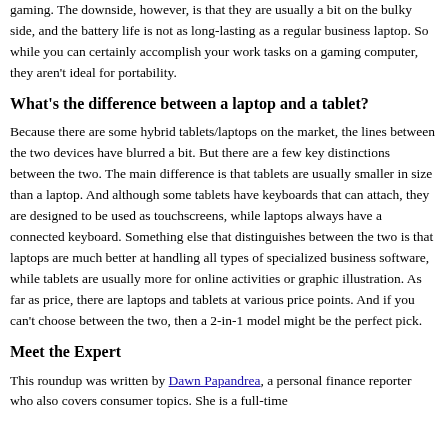gaming. The downside, however, is that they are usually a bit on the bulky side, and the battery life is not as long-lasting as a regular business laptop. So while you can certainly accomplish your work tasks on a gaming computer, they aren't ideal for portability.
What's the difference between a laptop and a tablet?
Because there are some hybrid tablets/laptops on the market, the lines between the two devices have blurred a bit. But there are a few key distinctions between the two. The main difference is that tablets are usually smaller in size than a laptop. And although some tablets have keyboards that can attach, they are designed to be used as touchscreens, while laptops always have a connected keyboard. Something else that distinguishes between the two is that laptops are much better at handling all types of specialized business software, while tablets are usually more for online activities or graphic illustration. As far as price, there are laptops and tablets at various price points. And if you can't choose between the two, then a 2-in-1 model might be the perfect pick.
Meet the Expert
This roundup was written by Dawn Papandrea, a personal finance reporter who also covers consumer topics. She is a full-time